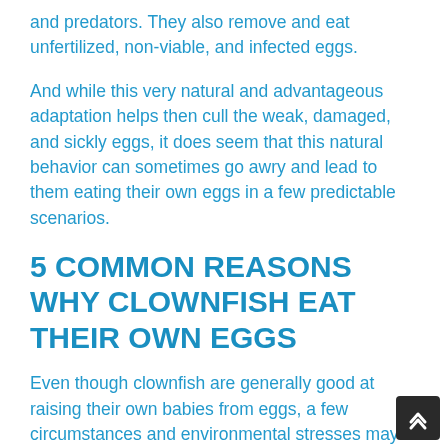and predators. They also remove and eat unfertilized, non-viable, and infected eggs.
And while this very natural and advantageous adaptation helps then cull the weak, damaged, and sickly eggs, it does seem that this natural behavior can sometimes go awry and lead to them eating their own eggs in a few predictable scenarios.
5 COMMON REASONS WHY CLOWNFISH EAT THEIR OWN EGGS
Even though clownfish are generally good at raising their own babies from eggs, a few circumstances and environmental stresses may lead the male clownfish to eat their own eggs. It is generally the male since he is the one tending to the nest.